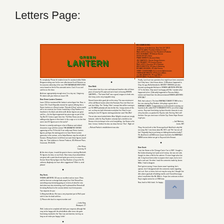Letters Page:
[Figure (illustration): Green Lantern comic letters page with orange/red header showing GREEN LANTERN logo in green, DC Comics staff box, and three columns of letters text]
Hi, everybody. Please let readers know I'm assistant editor Eddie Berganza taking over for the ever affectionate Scott Palamieri as he assumes editorship of the new THE BATMAN ADVENTURES comic based on the hit Fox animated series. Cool. It's as cool and fun as the show. And now, appropriately enough since I'm a tiny nut, I begin my GL duties with your letters on issue #28.
Dear Green Lantern Creators: Issue #28 first mentioned Hal Jordan's action figure line. Now, in Issue #26, Chuck Reynolds reveals her opinion offering that a Green Lantern or a Green Lantern 'Friends & Foes' series would sell in our universe, but I know I would buy a Guy Gardner in a heartbeat in his black and white outfit. Action figures are great and fun -- the last figure appeared two years ago as part of the Toy Biz DC Comics super hero line. The New Titans are also adding action figures in their book. Is this a sign or is it a hint that some new DC figures are in the works? Kenner is currently working on a line of Batman and related characters to go with the cartoon THE ANIMATED SERIES appearing on Fox TV this fall. If we really want Green Lantern figures, perhaps the starting point is to have Green Lantern guest-star in the cartoon, as he helps Batman stop the evil plot of Kanarra. Writing Kenner to tell them we want these figures would help, too. Their address is: Kenner Products, 615 Elsinore Place, Cincinnati, OH 45202. -- Eric Shaw, Coventry, KI
At this time of year, it would be great to have a stocking filled with GL figures, but alas, no such luck. Now many of you downbelow are great with a paint brush and quite you can try to convert a Kenner Steve Harvey figure into Guy Gardner or buy at the GL uniforms. Anybody can have other suggestions? Write in, send photos!
Hey Scott, GREEN LANTERN #26 was an excellent and an issue. Olivia and her love are a strange fade-sequel, but I feel Gerard has something very interesting going on in terms of what the new dock idea was also interesting, and I'm pleased that Gerard will be taking Hal back to the cosmos before much time passes. Two requests for you: 1) Bring back Arisia. She was a very important part of Hal's past and it's time he dealt with her. 2) Please refer back to request number one! -- Linda King, Waterport, CT
Well, Linda we've complied with both your requests although Hal may not be happy with the whole Arisia affair since she goes from being involved in the Titan Law and doctrine, but hey, as long as we make you happy, Linda!
Dear Green Penguin: I wondered if you have noticed that with each issue, Hal Jordan looks more and more like Jerry Brown? -- Jonah David Wallace, Northridge, CA
Does that mean we should try to make Carol look more like Linda Ronstadt??
Dear Bold: It was about time for a nice and balanced breather after all these years of anarchy DC-style and we're back to hearing GREEN LANTERN -- 'The latest Stuff' was a good, tongue-in cheek one-shot story, and a very enjoyable story. Gerard Jones did a good job on this story. This was reminiscent of the old Marvel stories where the Fantastic Four met Stan Lee and Jack Kirby. The 'Smiley Titles' concept that will be running in our GL FANS probably will also be like this. I enjoy stories of this sort, as they are both informative and plain fun. Now I'm just waiting for new DC figures starting production soon! Bon Mot! The art also never looked better. Marc Wright's visuals are simply fantastic, while his Guy Gardner certainly had a terrible to Joe Devera in his technique in the art of storytelling. Joe Staton is the best. I mean, I believe he also can draw the true 'Dior'. Right on! -- Richard Fanfair's establishment was also
Finally, I just have two questions that might have been answered, but if they have, I don't know where. 1) Whatever happened to Chip, the guy Hal befriended in SECRET ORIGINS and who showed up alongside Hal later in GREEN LANTERN SPECIAL #1? In the letter, Chip wasn't too happy with Hal. I wonder what happened to him. 2) Actually happened to Princess Holly's mentor and friend from the often-mentioned GREEN LANTERN SPECIAL? Well, that's about it. The best EMERALD DAWN TO ME to be a fine one starring Guy Gardner, John plays a great role in EMERALD DAWN. Congratulations to all involved in starring our favorite ex-GL called GUY'S GREATEST HITS, out of the Lodge comics. Guy went from being my least favorite character to one of my favorites, so pardon the Guy fan side. But hey, Hal's still the best. See you next issue in Soirée City. Green Hope Grosse to get you. -- Joel Martinez, Jones, MO
Okay, the real truth is that Grosse got back! And that's why Hal ran away. But I now know about Mr. M.O. and 'His' law we call him! Originally they're just being so lobbing themselves lately?! Oh, And there's still 800 more reason that led to the EMERALD DAWN series before we get to Guy and John Stewart.
Dear Scott: I met Joe Staton at the Chicago Comic Con in 1987. I bought a Hal Jordan drawing, but I paid out of money. Joe was not rude, though, he drew a Hal for the admirer. I'll never forget what Joe did. It may have been when to anyone else's eyes, but to me it had a real soul. So when I read the comments made by James Miller, I had to disagree. Don't get me wrong, I know James wasn't speaking Joe's opinion, but if I disagreed with the comments made regarding Joe's art. Sure, at times Joe's art may be corny, but I thought Joe did a damn good job of building mantle, and I found that angry when I read letters like Mr. Miller's. I hope Joe continues to draw Guy's regular series for a LONG time. Now, back to Hal's book. I'm happy...